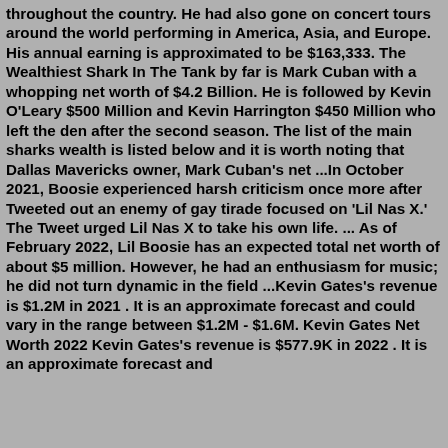throughout the country. He had also gone on concert tours around the world performing in America, Asia, and Europe. His annual earning is approximated to be $163,333. The Wealthiest Shark In The Tank by far is Mark Cuban with a whopping net worth of $4.2 Billion. He is followed by Kevin O'Leary $500 Million and Kevin Harrington $450 Million who left the den after the second season. The list of the main sharks wealth is listed below and it is worth noting that Dallas Mavericks owner, Mark Cuban's net ...In October 2021, Boosie experienced harsh criticism once more after Tweeted out an enemy of gay tirade focused on 'Lil Nas X.' The Tweet urged Lil Nas X to take his own life. ... As of February 2022, Lil Boosie has an expected total net worth of about $5 million. However, he had an enthusiasm for music; he did not turn dynamic in the field ...Kevin Gates's revenue is $1.2M in 2021 . It is an approximate forecast and could vary in the range between $1.2M - $1.6M. Kevin Gates Net Worth 2022 Kevin Gates's revenue is $577.9K in 2022 . It is an approximate forecast and